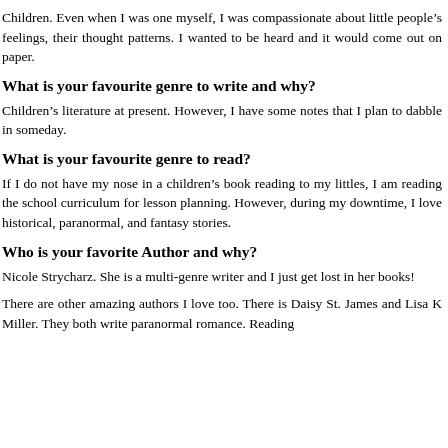Children. Even when I was one myself, I was compassionate about little people's feelings, their thought patterns. I wanted to be heard and it would come out on paper.
What is your favourite genre to write and why?
Children's literature at present. However, I have some notes that I plan to dabble in someday.
What is your favourite genre to read?
If I do not have my nose in a children's book reading to my littles, I am reading the school curriculum for lesson planning. However, during my downtime, I love historical, paranormal, and fantasy stories.
Who is your favorite Author and why?
Nicole Strycharz. She is a multi-genre writer and I just get lost in her books!
There are other amazing authors I love too. There is Daisy St. James and Lisa K Miller. They both write paranormal romance. Reading